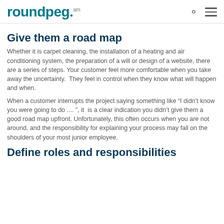roundpeg.
Give them a road map
Whether it is carpet cleaning, the installation of a heating and air conditioning system, the preparation of a will or design of a website, there are a series of steps. Your customer feel more comfortable when you take away the uncertainty. They feel in control when they know what will happen and when.
When a customer interrupts the project saying something like “I didn’t know you were going to do .... ”, it is a clear indication you didn’t give them a good road map upfront. Unfortunately, this often occurs when you are not around, and the responsibility for explaining your process may fall on the shoulders of your most junior employee.
Define roles and responsibilities